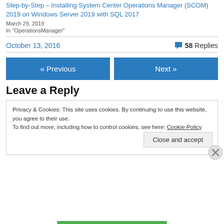Step-by-Step – Installing System Center Operations Manager (SCOM) 2019 on Windows Server 2019 with SQL 2017
March 29, 2019
In "OperationsManager"
October 13, 2016   💬 58 Replies
« Previous
Next »
Leave a Reply
Privacy & Cookies: This site uses cookies. By continuing to use this website, you agree to their use. To find out more, including how to control cookies, see here: Cookie Policy
Close and accept